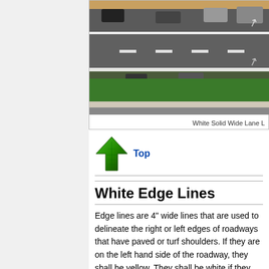[Figure (photo): Aerial view of a road showing white solid wide lane line markings, with cars visible on the roadway and a green median area.]
White Solid Wide Lane L
[Figure (other): Green upward arrow navigation icon linking to Top of page]
White Edge Lines
Edge lines are 4" wide lines that are used to delineate the right or left edges of roadways that have paved or turf shoulders. If they are on the left hand side of the roadway, they shall be yellow. They shall be white if they are on the right hand side of the roadway. Edge lines shall not be continued through